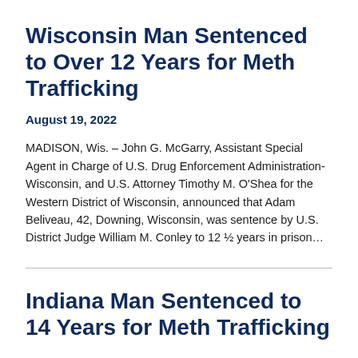Wisconsin Man Sentenced to Over 12 Years for Meth Trafficking
August 19, 2022
MADISON, Wis. – John G. McGarry, Assistant Special Agent in Charge of U.S. Drug Enforcement Administration-Wisconsin, and U.S. Attorney Timothy M. O'Shea for the Western District of Wisconsin, announced that Adam Beliveau, 42, Downing, Wisconsin, was sentence by U.S. District Judge William M. Conley to 12 ½ years in prison…
Indiana Man Sentenced to 14 Years for Meth Trafficking